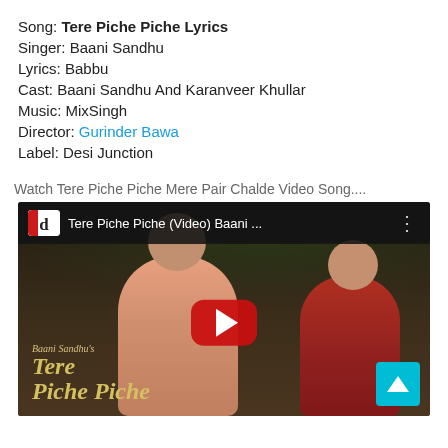Song: Tere Piche Piche Lyrics
Singer: Baani Sandhu
Lyrics: Babbu
Cast: Baani Sandhu And Karanveer Khullar
Music: MixSingh
Director: Gurinder Bawa
Label: Desi Junction
Watch Tere Piche Piche Mere Pair Chalde Video Song....
[Figure (screenshot): YouTube video thumbnail for 'Tere Piche Piche (Video) Baani ...' showing a couple (man in pink, woman in red) with script-style title text 'Tere Piche Piche' and a YouTube play button overlay. Desi Junction (d) logo in top left corner.]